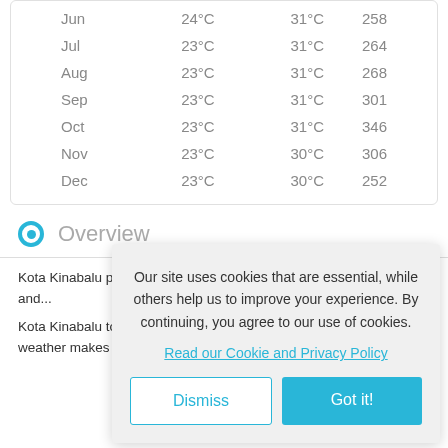| Month | Min | Max | Sunshine hrs |
| --- | --- | --- | --- |
| Jun | 24°C | 31°C | 258 |
| Jul | 23°C | 31°C | 264 |
| Aug | 23°C | 31°C | 268 |
| Sep | 23°C | 31°C | 301 |
| Oct | 23°C | 31°C | 346 |
| Nov | 23°C | 30°C | 306 |
| Dec | 23°C | 30°C | 252 |
Overview
Kota Kinabalu popular destination capital and largest city into Sabah and...
Kota Kinabalu to the tropical hotspot for div year-round warm weather makes any time a great time to enjoy
Our site uses cookies that are essential, while others help us to improve your experience. By continuing, you agree to our use of cookies.
Read our Cookie and Privacy Policy